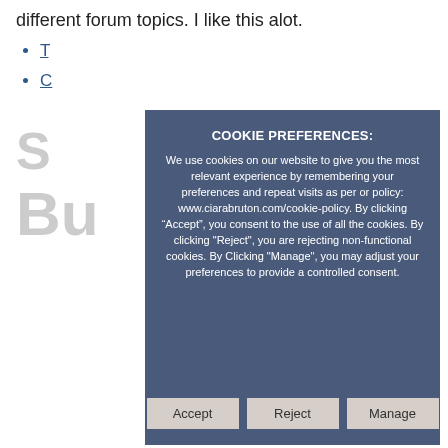different forum topics. I like this alot.
T...
C...
S...
Bu...
COOKIE PREFERENCES:
We use cookies on our website to give you the most relevant experience by remembering your preferences and repeat visits as per or policy: www.ciarabruton.com/cookie-policy. By clicking “Accept”, you consent to the use of all the cookies. By clicking "Reject", you are rejecting non-functional cookies. By Clicking "Manage", you may adjust your preferences to provide a controlled consent.